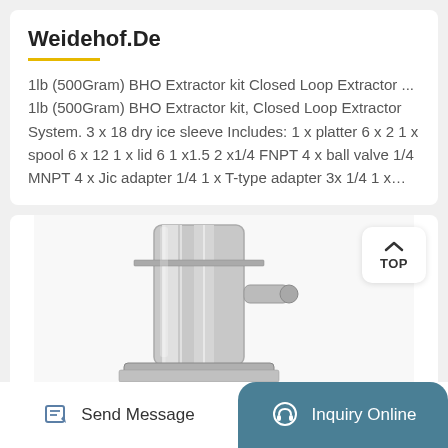Weidehof.De
1lb (500Gram) BHO Extractor kit Closed Loop Extractor ... 1lb (500Gram) BHO Extractor kit, Closed Loop Extractor System. 3 x 18 dry ice sleeve Includes: 1 x platter 6 x 2 1 x spool 6 x 12 1 x lid 6 1 x1.5 2 x1/4 FNPT 4 x ball valve 1/4 MNPT 4 x Jic adapter 1/4 1 x T-type adapter 3x 1/4 1 x…
[Figure (photo): Photo of a stainless steel BHO closed loop extractor component, showing cylindrical tubes, flanges, and fittings made of polished metal.]
Send Message
Inquiry Online